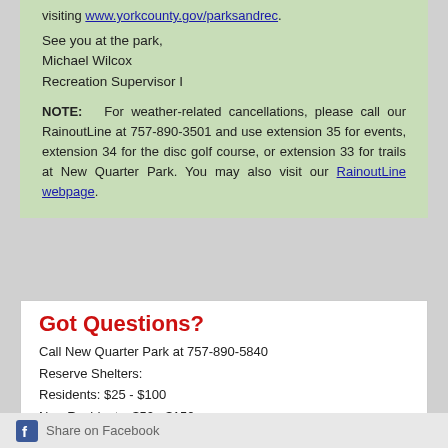visiting www.yorkcounty.gov/parksandrec.
See you at the park,
Michael Wilcox
Recreation Supervisor I
NOTE: For weather-related cancellations, please call our RainoutLine at 757-890-3501 and use extension 35 for events, extension 34 for the disc golf course, or extension 33 for trails at New Quarter Park. You may also visit our RainoutLine webpage.
Got Questions?
Call New Quarter Park at 757-890-5840
Reserve Shelters:
Residents: $25 - $100
Non-Residents: $50 - $150
Fire Circle: $25
Disc Golf:
Resident or Members of the CDGC: Daily $3, Annual $25
Non-Residents: Daily $5, Annual $50
Merchandise and Rentals available
Share on Facebook